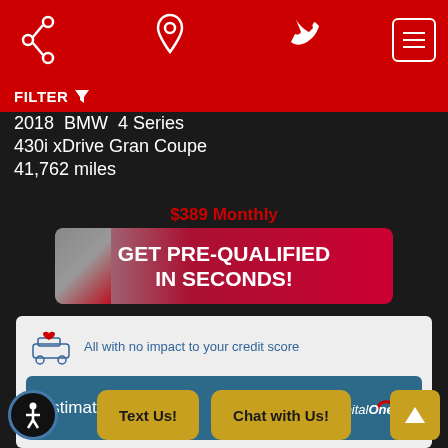[Figure (screenshot): Top navigation bar with share, location, phone, and menu icons on red background]
FILTER
2018 BMW 4 Series
430i xDrive Gran Coupe
41,762 miles
$389 Monthly
GET PRE-QUALIFIED IN SECONDS!
All with no impact to your credit score
Estimate financing
Text Us!
Chat with Us!